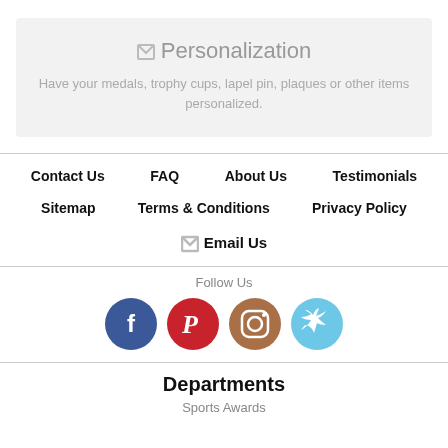✉ Personalization
Have your medals, trophy cups, lapel pin, plaques or other items personalized.
Contact Us
FAQ
About Us
Testimonials
Sitemap
Terms & Conditions
Privacy Policy
✉ Email Us
Follow Us
[Figure (illustration): Social media icons: Facebook (blue circle with f), Pinterest (red circle with P), Instagram (brown circle with camera), Twitter (light blue circle with bird)]
Departments
Sports Awards